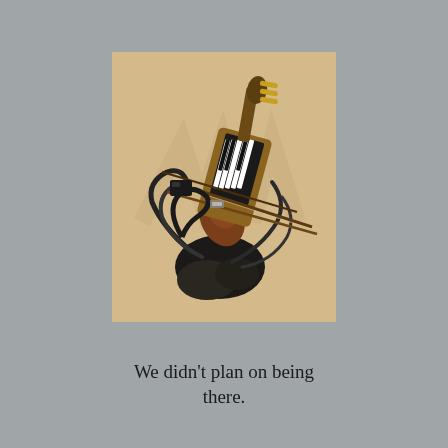[Figure (photo): A complex assemblage of musical instruments and cables photographed against a warm beige/tan background. The cluster includes what appears to be a hurdy-gurdy or similar stringed instrument with piano keys visible, multiple bows, cables/cords, and headphones all tangled together in a sculptural pile.]
We didn't plan on being there.